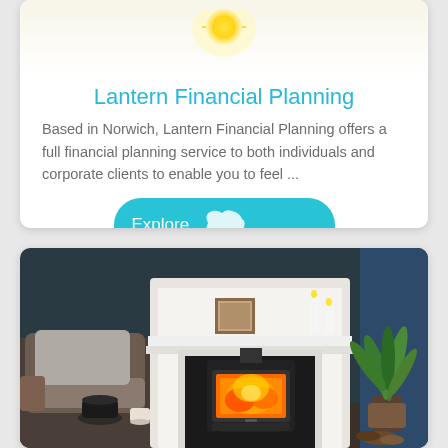[Figure (logo): Lantern Financial Planning logo with sun/lantern graphic on light yellow-white gradient background]
Lantern Financial Planning
Based in Norwich, Lantern Financial Planning offers a full financial planning service to both individuals and corporate clients to enable you to feel ...
[Figure (photo): Interior photo of a living room featuring a white fireplace surround with a black wood-burning stove with fire visible inside, a grey cushioned armchair on the left, a green palm plant on the right, dark teal walls, and a teapot and cup on a surface in the foreground.]